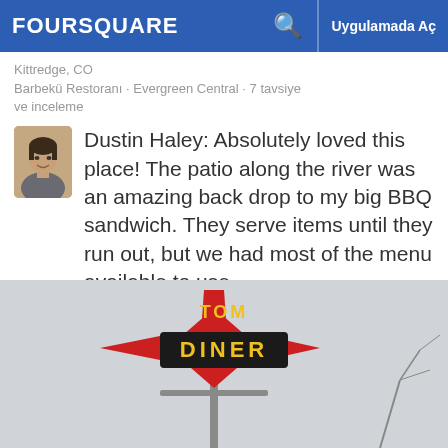FOURSQUARE  Uygulamada Aç
Kittredge, CO
Barbekü Restoranı · Evergreen Central · 7 tavsiye ve inceleme
Dustin Haley: Absolutely loved this place! The patio along the river was an amazing back drop to my big BBQ sandwich. They serve items until they run out, but we had most of the menu available to use.
[Figure (photo): Photo of a diner sign showing a red star shape with the word DINER on it and what appears to be TOM above, a classic American diner sign on a pole.]